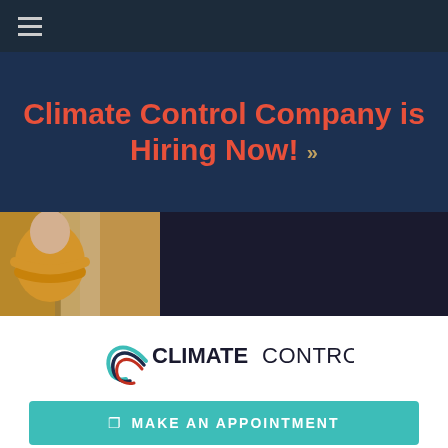≡ (hamburger menu)
Climate Control Company is Hiring Now! »
[Figure (photo): Person in yellow sweater hugging themselves near window, partially cropped]
[Figure (photo): Close-up of insulation/window frame with pink insulation visible, partially cropped]
February 1, 2022 by Climate Control Blogger
Top 5 Ways You Can...
[Figure (logo): Climate Control company logo with swoosh arc graphic in teal, red, and dark navy colors]
MAKE AN APPOINTMENT